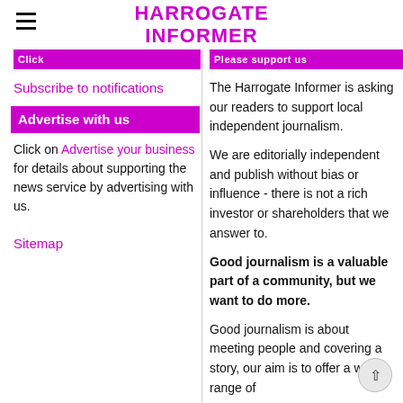HARROGATE INFORMER
Subscribe to notifications
Advertise with us
Click on Advertise your business for details about supporting the news service by advertising with us.
Sitemap
The Harrogate Informer is asking our readers to support local independent journalism.
We are editorially independent and publish without bias or influence - there is not a rich investor or shareholders that we answer to.
Good journalism is a valuable part of a community, but we want to do more.
Good journalism is about meeting people and covering a story, our aim is to offer a wide range of